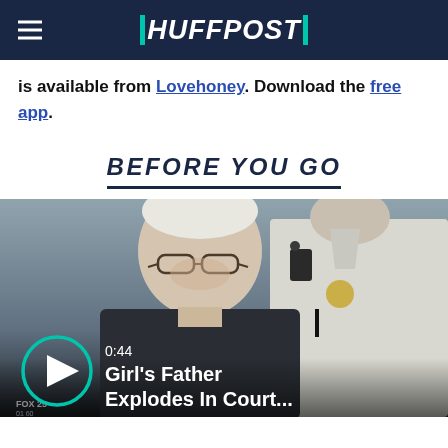HUFFPOST
is available from Lovehoney. Download the free app.
BEFORE YOU GO
[Figure (photo): Video thumbnail showing a young man with glasses in a dark shirt, standing in front of a uniformed officer. Overlay shows play button, time 0:44, and title 'Girl's Father Explodes In Court...']